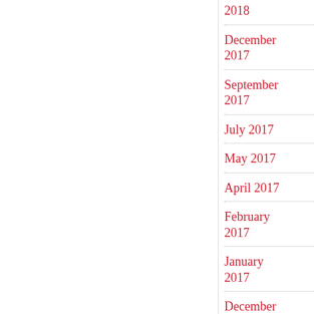2018
December 2017
September 2017
July 2017
May 2017
April 2017
February 2017
January 2017
December 2016
November 2016
October 2016